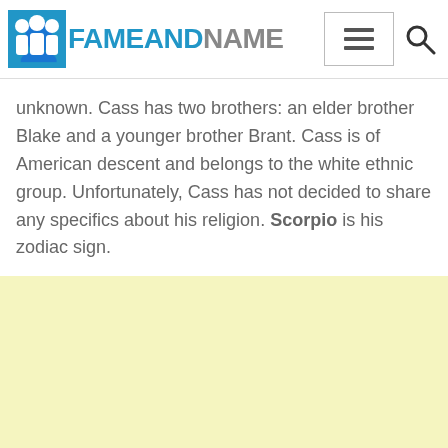FAMEANDNAME
unknown. Cass has two brothers: an elder brother Blake and a younger brother Brant. Cass is of American descent and belongs to the white ethnic group. Unfortunately, Cass has not decided to share any specifics about his religion. Scorpio is his zodiac sign.
[Figure (other): Light yellow advertisement block]